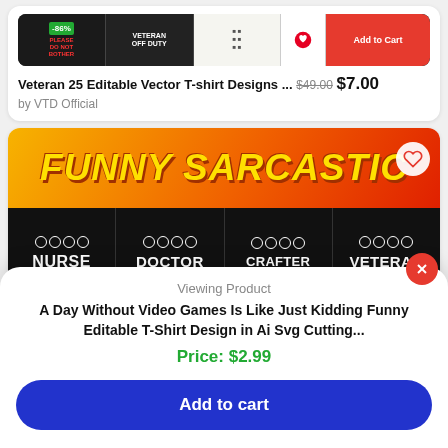[Figure (screenshot): Product listing card for Veteran 25 Editable Vector T-shirt Designs showing product preview images with -86% discount badge and Add to Cart button]
Veteran 25 Editable Vector T-shirt Designs ... $49.00 $7.00
by VTD Official
[Figure (screenshot): Funny Sarcastic t-shirt designs product image showing orange flame banner with yellow text FUNNY SARCASTIC and four black product panels labeled NURSE, DOCTOR, CRAFTER, VETERAN with 100% ORGANIC badges]
Viewing Product
A Day Without Video Games Is Like Just Kidding Funny Editable T-Shirt Design in Ai Svg Cutting...
Price: $2.99
Add to cart